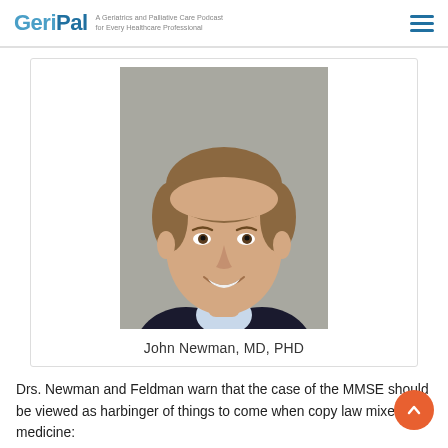GeriPal — A Geriatrics and Palliative Care Podcast for Every Healthcare Professional
[Figure (photo): Headshot of John Newman, MD, PHD — a smiling man with short brown hair wearing a dark suit and light blue shirt, against a grey background]
John Newman, MD, PHD
Drs. Newman and Feldman warn that the case of the MMSE should be viewed as harbinger of things to come when copy law mixes with medicine: